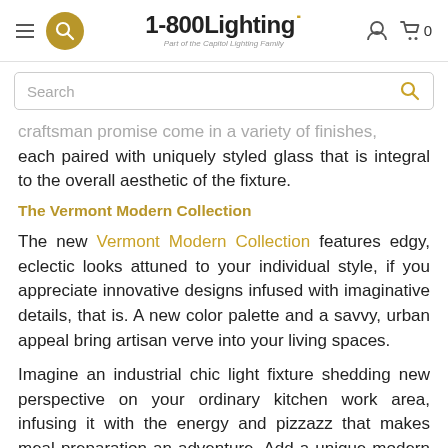1-800Lighting — Part of the Capitol Lighting Family
craftsman promise come in a variety of finishes, each paired with uniquely styled glass that is integral to the overall aesthetic of the fixture.
The Vermont Modern Collection
The new Vermont Modern Collection features edgy, eclectic looks attuned to your individual style, if you appreciate innovative designs infused with imaginative details, that is. A new color palette and a savvy, urban appeal bring artisan verve into your living spaces.
Imagine an industrial chic light fixture shedding new perspective on your ordinary kitchen work area, infusing it with the energy and pizzazz that makes meal preparation an adventure. Add a unique modern light fixture to your spa-style master bath and bask in the sculptural glow as you soak away the stresses of the day.